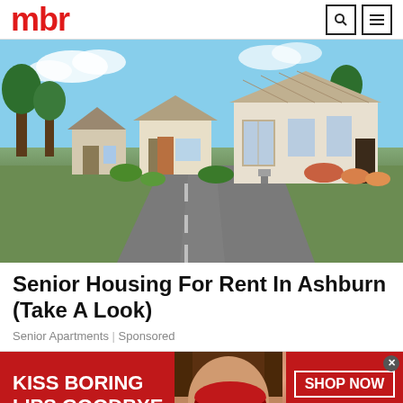mbr
[Figure (photo): Row of suburban bungalow-style homes along a curved driveway with landscaped gardens and trees — senior housing community exterior]
Senior Housing For Rent In Ashburn (Take A Look)
Senior Apartments | Sponsored
[Figure (photo): Red Macy's advertisement banner: 'KISS BORING LIPS GOODBYE' with a woman's face showing red lips, and a 'SHOP NOW' button with the Macy's star logo]